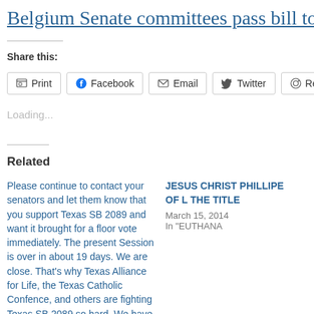Belgium Senate committees pass bill to all
Share this:
Print   Facebook   Email   Twitter   Reddit   LinkedIn
Loading...
Related
Please continue to contact your senators and let them know that you support Texas SB 2089 and want it brought for a floor vote immediately. The present Session is over in about 19 days. We are close. That's why Texas Alliance for Life, the Texas Catholic Confence, and others are fighting Texas SB 2089 so hard. We have to fight back.
May 9, 2019
JESUS CHRIST PHILLIPE OF L THE TITLE
March 15, 2014
In "EUTHANA